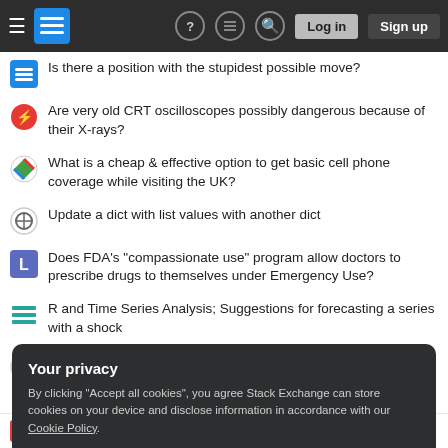[Figure (screenshot): Stack Exchange navigation bar with hamburger menu, logo, help icon, feed icon, search icon, Log in and Sign up buttons]
Is there a position with the stupidest possible move?
Are very old CRT oscilloscopes possibly dangerous because of their X-rays?
What is a cheap & effective option to get basic cell phone coverage while visiting the UK?
Update a dict with list values with another dict
Does FDA's "compassionate use" program allow doctors to prescribe drugs to themselves under Emergency Use?
R and Time Series Analysis; Suggestions for forecasting a series with a shock
Python program to scramble MP3 audio
Your privacy
By clicking "Accept all cookies", you agree Stack Exchange can store cookies on your device and disclose information in accordance with our Cookie Policy.
Why is the Coriolis effect zero near the equator?